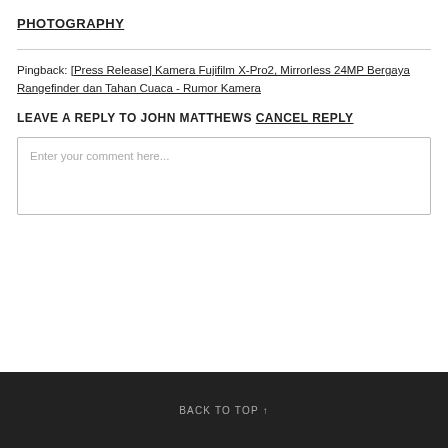PHOTOGRAPHY
Pingback: [Press Release] Kamera Fujifilm X-Pro2, Mirrorless 24MP Bergaya Rangefinder dan Tahan Cuaca - Rumor Kamera
LEAVE A REPLY TO JOHN MATTHEWS CANCEL REPLY
Enter your comment here...
BACK TO TOP ↑